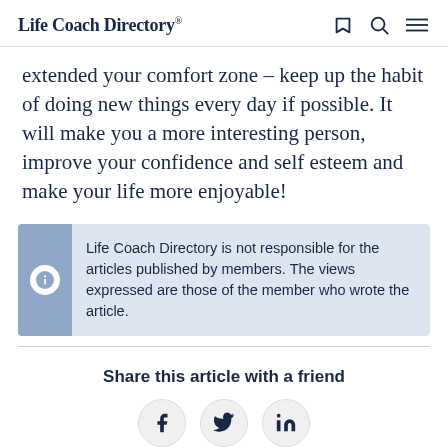Life Coach Directory
extended your comfort zone – keep up the habit of doing new things every day if possible. It will make you a more interesting person, improve your confidence and self esteem and make your life more enjoyable!
Life Coach Directory is not responsible for the articles published by members. The views expressed are those of the member who wrote the article.
Share this article with a friend
[Figure (other): Social share buttons: Facebook, Twitter, LinkedIn]